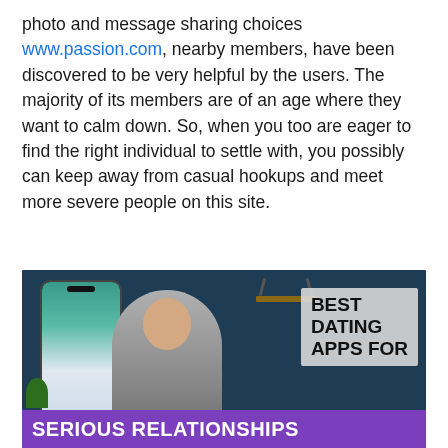photo and message sharing choices www.passion.com, nearby members, have been discovered to be very helpful by the users. The majority of its members are of an age where they want to calm down. So, when you too are eager to find the right individual to settle with, you possibly can keep away from casual hookups and meet more severe people on this site.
[Figure (photo): Video thumbnail showing a man facing camera with a phone mockup on the left and text overlay reading 'BEST DATING APPS FOR' on the right. A purple banner at the bottom reads 'SERIOUS RELATIONSHIPS'.]